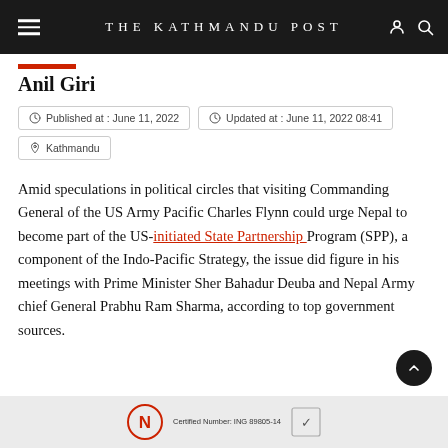THE KATHMANDU POST
Anil Giri
Published at : June 11, 2022
Updated at : June 11, 2022 08:41
Kathmandu
Amid speculations in political circles that visiting Commanding General of the US Army Pacific Charles Flynn could urge Nepal to become part of the US-initiated State Partnership Program (SPP), a component of the Indo-Pacific Strategy, the issue did figure in his meetings with Prime Minister Sher Bahadur Deuba and Nepal Army chief General Prabhu Ram Sharma, according to top government sources.